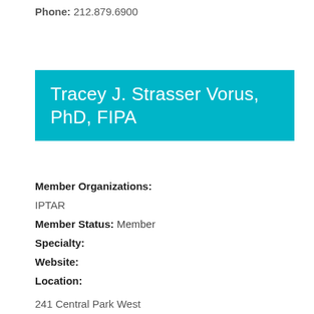Phone: 212.879.6900
Tracey J. Strasser Vorus, PhD, FIPA
Member Organizations:
IPTAR
Member Status: Member
Specialty:
Website:
Location:
241 Central Park West